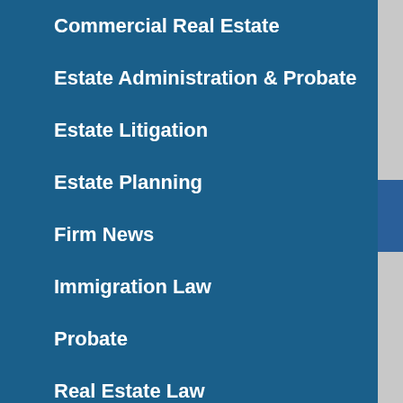Commercial Real Estate
Estate Administration & Probate
Estate Litigation
Estate Planning
Firm News
Immigration Law
Probate
Real Estate Law
uncategorized
RSS Feed